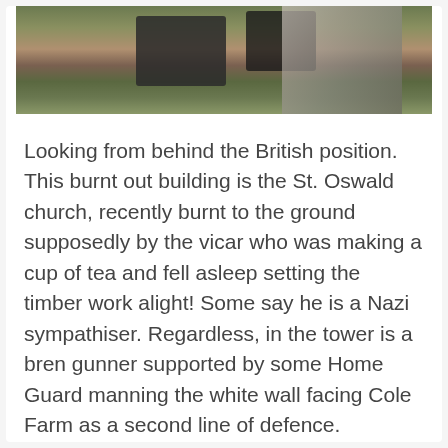[Figure (photo): Aerial/overhead view of a tabletop wargame battlefield showing painted miniature terrain including green grass areas, brown earth patches, and dark burnt-out building models with stone walls.]
Looking from behind the British position. This burnt out building is the St. Oswald church, recently burnt to the ground supposedly by the vicar who was making a cup of tea and fell asleep setting the timber work alight! Some say he is a Nazi sympathiser. Regardless, in the tower is a bren gunner supported by some Home Guard manning the white wall facing Cole Farm as a second line of defence.